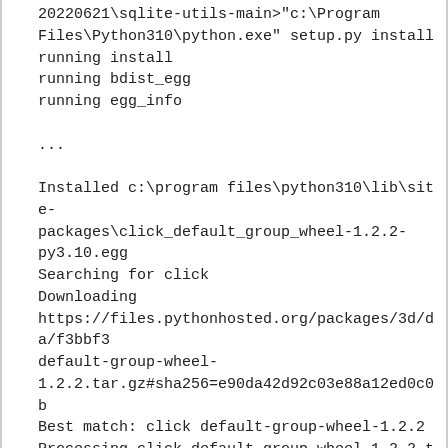20220621\sqlite-utils-main>"c:\Program Files\Python310\python.exe" setup.py install
running install
running bdist_egg
running egg_info

...

Installed c:\program files\python310\lib\site-packages\click_default_group_wheel-1.2.2-py3.10.egg
Searching for click
Downloading https://files.pythonhosted.org/packages/3d/da/f3bbf3default-group-wheel-1.2.2.tar.gz#sha256=e90da42d92c03e88a12ed0c0b
Best match: click default-group-wheel-1.2.2
Processing click-default-group-wheel-1.2.2.tar.gz
Writing